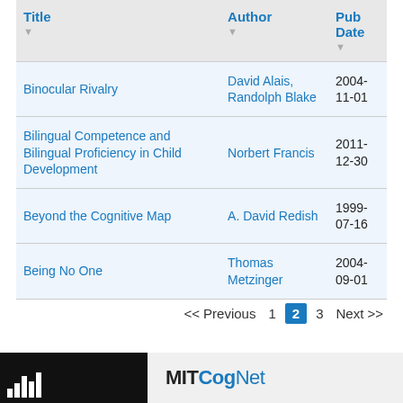| Title | Author | Pub Date |
| --- | --- | --- |
| Binocular Rivalry | David Alais, Randolph Blake | 2004-11-01 |
| Bilingual Competence and Bilingual Proficiency in Child Development | Norbert Francis | 2011-12-30 |
| Beyond the Cognitive Map | A. David Redish | 1999-07-16 |
| Being No One | Thomas Metzinger | 2004-09-01 |
<< Previous  1  2  3  Next >>
MITCogNet